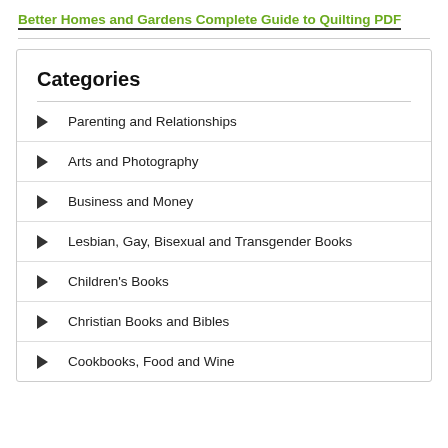Better Homes and Gardens Complete Guide to Quilting PDF
Categories
Parenting and Relationships
Arts and Photography
Business and Money
Lesbian, Gay, Bisexual and Transgender Books
Children's Books
Christian Books and Bibles
Cookbooks, Food and Wine